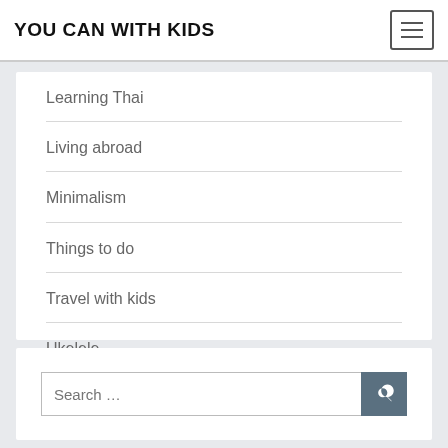YOU CAN WITH KIDS
Learning Thai
Living abroad
Minimalism
Things to do
Travel with kids
Ukelele
Search …